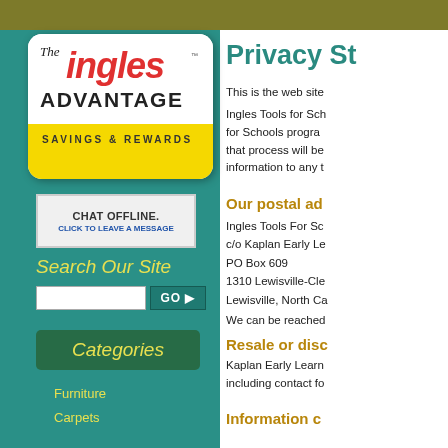[Figure (logo): The Ingles ADVANTAGE Savings & Rewards card logo - white card with rounded corners, red italic 'ingles' text, black 'ADVANTAGE', yellow bottom section with 'SAVINGS & REWARDS']
CHAT OFFLINE. CLICK TO LEAVE A MESSAGE
Search Our Site
Categories
Furniture
Carpets
Privacy St
This is the web site
Ingles Tools for Sch for Schools progra that process will be information to any t
Our postal ad
Ingles Tools For Sc c/o Kaplan Early Le PO Box 609 1310 Lewisville-Cle Lewisville, North Ca
We can be reached
Resale or disc
Kaplan Early Learn including contact fo
Information c